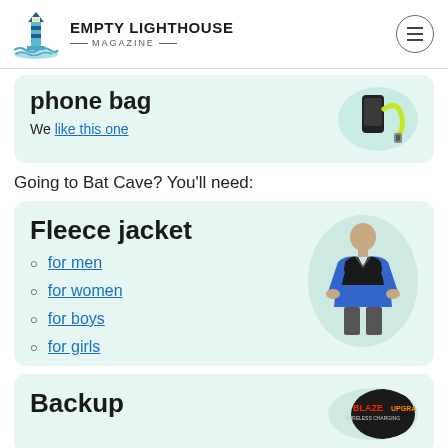EMPTY LIGHTHOUSE MAGAZINE
phone bag
We like this one
Going to Bat Cave? You'll need:
Fleece jacket
for men
for women
for boys
for girls
Backup